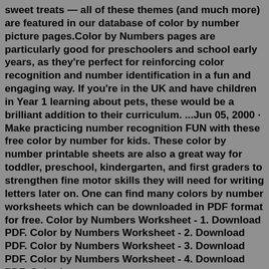sweet treats — all of these themes (and much more) are featured in our database of color by number picture pages.Color by Numbers pages are particularly good for preschoolers and school early years, as they're perfect for reinforcing color recognition and number identification in a fun and engaging way. If you're in the UK and have children in Year 1 learning about pets, these would be a brilliant addition to their curriculum. ...Jun 05, 2000 · Make practicing number recognition FUN with these free color by number for kids. These color by number printable sheets are also a great way for toddler, preschool, kindergarten, and first graders to strengthen fine motor skills they will need for writing letters later on. One can find many colors by number worksheets which can be downloaded in PDF format for free. Color by Numbers Worksheet - 1. Download PDF. Color by Numbers Worksheet - 2. Download PDF. Color by Numbers Worksheet - 3. Download PDF. Color by Numbers Worksheet - 4. Download PDF. Color by Numbers Worksheet - 5. Color (and PDF.